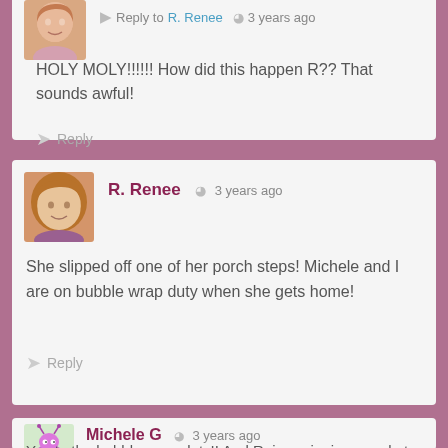Reply to R. Renee · 3 years ago
HOLY MOLY!!!!!! How did this happen R?? That sounds awful!
Reply
R. Renee · 3 years ago
She slipped off one of her porch steps! Michele and I are on bubble wrap duty when she gets home!
Reply
Michele G · 3 years ago
Yes to the bubble wrap duty!! And R. is assigning people to...